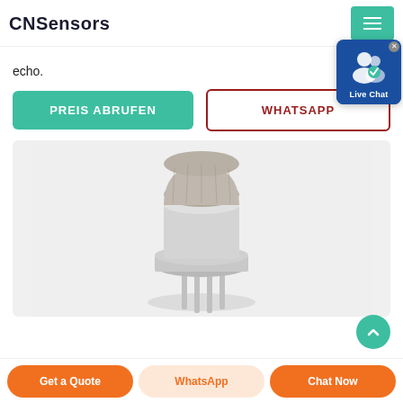CNSensors
echo.
PREIS ABRUFEN
WHATSAPP
[Figure (photo): A gas sensor component (MQ-type sensor) with a metal cap dome, silver metal base with pins, photographed on a light grey background.]
Get a Quote
WhatsApp
Chat Now